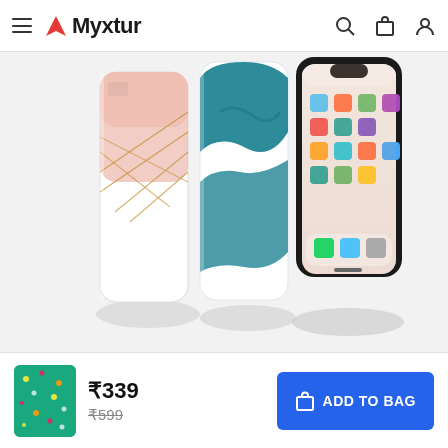Myxtur
[Figure (photo): Three phone cases displayed floating: a pink geometric/rose gold pattern case on the left, a teal/dark teal splash pattern case in the middle, and an iPhone X showing the home screen on the right. Shadow reflections visible below. Light gray background.]
Ultra HD Matte-Finish
[Figure (photo): Small product thumbnail image of a teal/green phone case with a confetti or spot pattern]
₹339
₹599